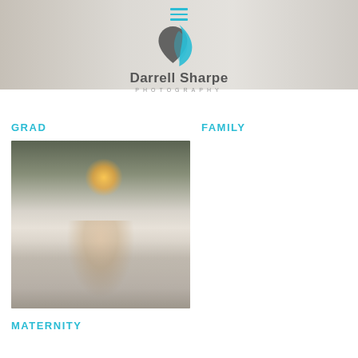[Figure (photo): Header background photo showing family outdoors in winter, semi-transparent overlay]
[Figure (logo): Darrell Sharpe Photography logo — two overlapping heart/leaf shapes in blue and dark grey, with company name below]
GRAD
FAMILY
[Figure (photo): Portrait of a young woman with long blonde hair and a grey scarf, smiling outdoors in snowy winter setting with trees and sunflare in background]
MATERNITY